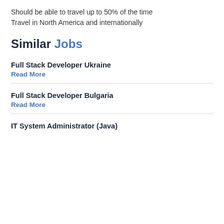Should be able to travel up to 50% of the time
Travel in North America and internationally
Similar Jobs
Full Stack Developer Ukraine
Read More
Full Stack Developer Bulgaria
Read More
IT System Administrator (Java)